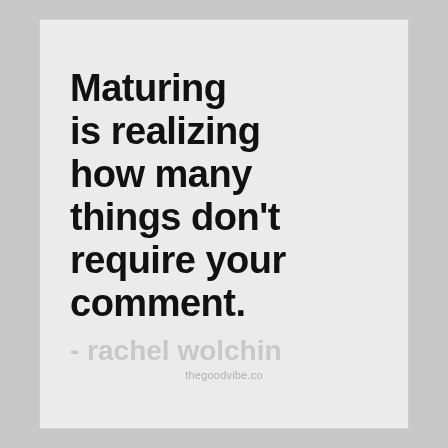Maturing is realizing how many things don’t require your comment.
- rachel wolchin
thegoodvibe.co